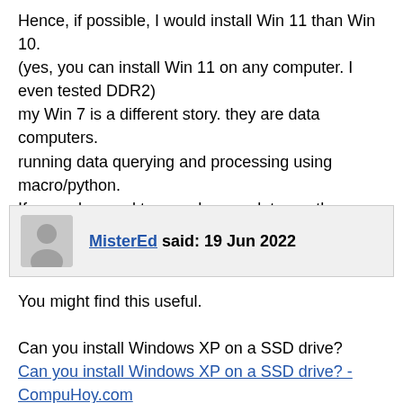Hence, if possible, I would install Win 11 than Win 10. (yes, you can install Win 11 on any computer. I even tested DDR2)
my Win 7 is a different story. they are data computers. running data querying and processing using macro/python. If upgrade, need too much re-work to run those scripts. I tried then gave up.
MisterEd said: 19 Jun 2022
You might find this useful.
Can you install Windows XP on a SSD drive?
Can you install Windows XP on a SSD drive? - CompuHoy.com